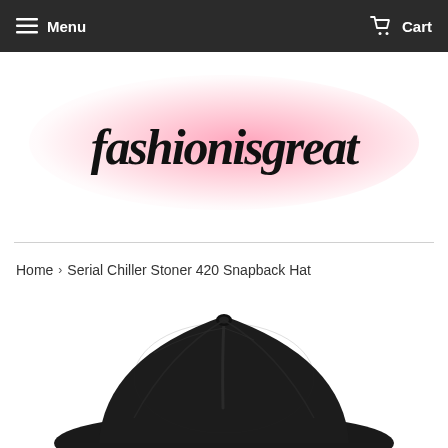Menu  Cart
[Figure (logo): fashionisgreat logo in black handwritten/italic font on pink radial gradient background]
Home › Serial Chiller Stoner 420 Snapback Hat
[Figure (photo): Black snapback hat viewed from above/front, showing crown and slight front brim, on white background]